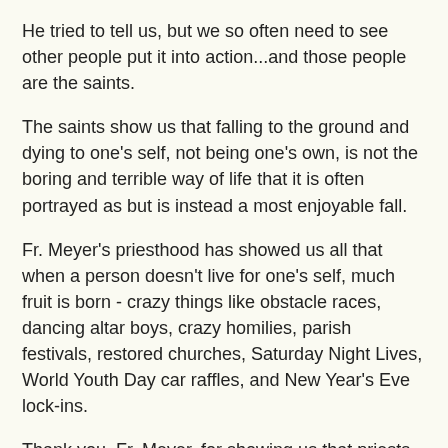He tried to tell us, but we so often need to see other people put it into action...and those people are the saints.
The saints show us that falling to the ground and dying to one's self, not being one's own, is not the boring and terrible way of life that it is often portrayed as but is instead a most enjoyable fall.
Fr. Meyer's priesthood has showed us all that when a person doesn't live for one's self, much fruit is born - crazy things like obstacle races, dancing altar boys, crazy homilies, parish festivals, restored churches, Saturday Night Lives, World Youth Day car raffles, and New Year's Eve lock-ins.
Thank you, Fr. Meyer, for showing us that priests (and people) who are not their own are not blind and boring rule followers, but are people who live thrilling lives of love.
Father John Hollowell at 8:33 AM    1 comment:
Share